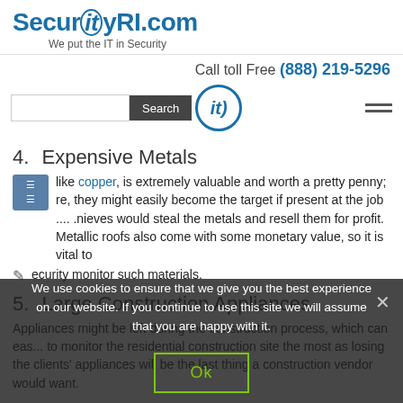[Figure (logo): SecurityRI.com logo with tagline 'We put the IT in Security']
Call toll Free (888) 219-5296
[Figure (screenshot): Search bar with Search button, circular it logo, and hamburger menu icon]
4.  Expensive Metals
...like copper, is extremely valuable and worth a pretty penny; ...re, they might easily become the target if present at the job .... .nieves would steal the metals and resell them for profit. Metallic roofs also come with some monetary value, so it is vital to .ecurity monitor such materials.
5.  Large Construction Appliances
Appliances might be left during the construction process, which can eas... to monitor the residential construction site the most as losing the clients' appliances will be the last thing a construction vendor would want.
We use cookies to ensure that we give you the best experience on our website. If you continue to use this site we will assume that you are happy with it.